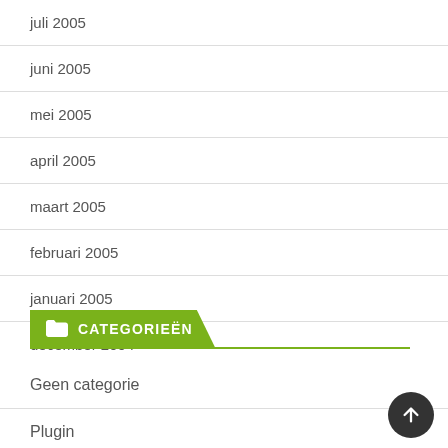juli 2005
juni 2005
mei 2005
april 2005
maart 2005
februari 2005
januari 2005
december 2004
CATEGORIEËN
Geen categorie
Plugin